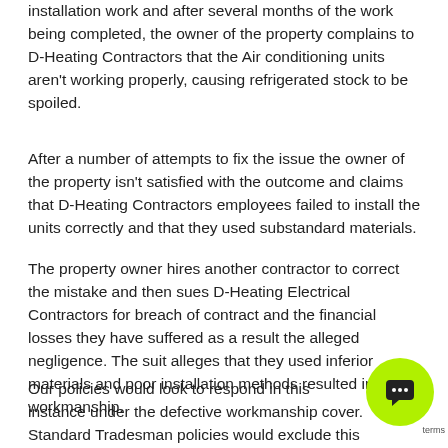installation work and after several months of the work being completed, the owner of the property complains to D-Heating Contractors that the Air conditioning units aren't working properly, causing refrigerated stock to be spoiled.
After a number of attempts to fix the issue the owner of the property isn't satisfied with the outcome and claims that D-Heating Contractors employees failed to install the units correctly and that they used substandard materials.
The property owner hires another contractor to correct the mistake and then sues D-Heating Electrical Contractors for breach of contract and the financial losses they have suffered as a result the alleged negligence. The suit alleges that they used inferior materials and poor installation methods resulted in poor workmanship.
Our policies would look to respond in this instance under the defective workmanship cover. Standard Tradesman policies would exclude this element of cover.